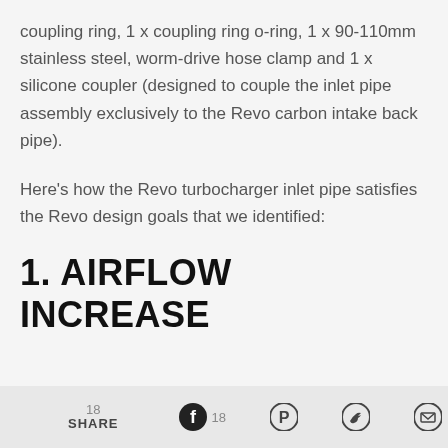coupling ring, 1 x coupling ring o-ring, 1 x 90-110mm stainless steel, worm-drive hose clamp and 1 x silicone coupler (designed to couple the inlet pipe assembly exclusively to the Revo carbon intake back pipe).
Here's how the Revo turbocharger inlet pipe satisfies the Revo design goals that we identified:
1. AIRFLOW INCREASE
18 SHARE | 18 [Facebook] [Pinterest] [Twitter] [Email]